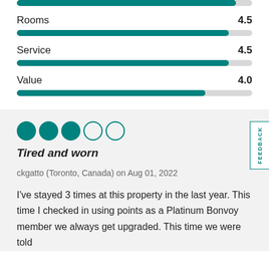[Figure (bar-chart): Rating bars: Rooms, Service, Value]
[Figure (other): 3 out of 5 filled green circles representing star rating]
Tired and worn
ckgatto (Toronto, Canada) on Aug 01, 2022
I've stayed 3 times at this property in the last year. This time I checked in using points as a Platinum Bonvoy member we always get upgraded. This time we were told